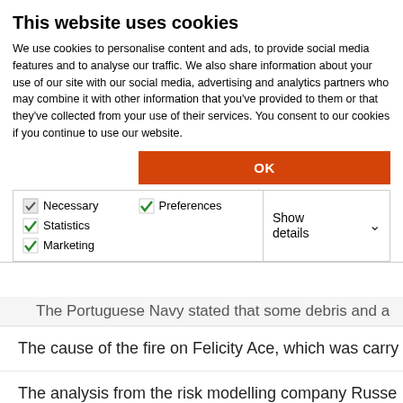This website uses cookies
We use cookies to personalise content and ads, to provide social media features and to analyse our traffic. We also share information about your use of our site with our social media, advertising and analytics partners who may combine it with other information that you've provided to them or that they've collected from your use of their services. You consent to our cookies if you continue to use our website.
OK
Necessary  Preferences  Statistics  Marketing  Show details
The Portuguese Navy stated that some debris and a
The cause of the fire on Felicity Ace, which was carry
The analysis from the risk modelling company Russe
Related Article